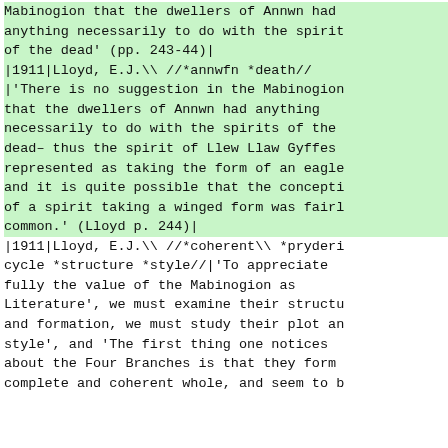Mabinogion that the dwellers of Annwn had anything necessarily to do with the spirit of the dead' (pp. 243-44)| |1911|Lloyd, E.J.\ //*annwfn *death// |'There is no suggestion in the Mabinogion that the dwellers of Annwn had anything necessarily to do with the spirits of the dead– thus the spirit of Llew Llaw Gyffes represented as taking the form of an eagle and it is quite possible that the concepti of a spirit taking a winged form was fairl common.' (Lloyd p. 244)| |1911|Lloyd, E.J.\ //*coherent\ *pryderi cycle *structure *style//|'To appreciate fully the value of the Mabinogion as Literature', we must examine their structu and formation, we must study their plot an style', and 'The first thing one notices about the Four Branches is that they form complete and coherent whole, and seem to b